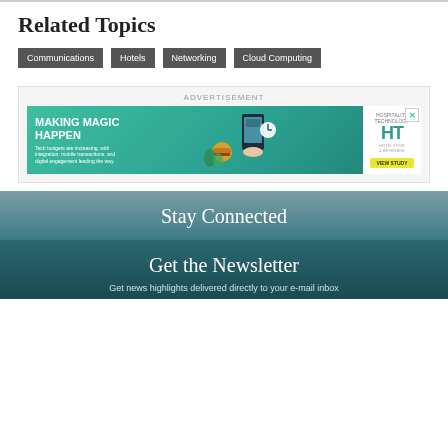Related Topics
Communications
Hotels
Networking
Cloud Computing
[Figure (illustration): Advertisement banner for Hospitality Technology with text 'MAKING MAGIC HAPPEN' and food/mobile imagery on a teal background]
Stay Connected
Get the Newsletter
Get news highlights delivered directly to your e-mail inbox